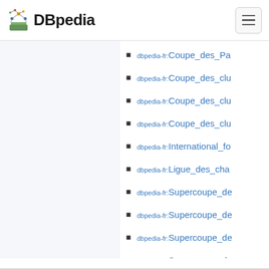DBpedia
dbpedia-fr:Coupe_des_Pa
dbpedia-fr:Coupe_des_clu
dbpedia-fr:Coupe_des_clu
dbpedia-fr:Coupe_des_clu
dbpedia-fr:International_fo
dbpedia-fr:Ligue_des_cha
dbpedia-fr:Supercoupe_de
dbpedia-fr:Supercoupe_de
dbpedia-fr:Supercoupe_de
dbpedia-fr:Supercoupe_de
dbpedia-fr:Supercoupe_de
dbpedia-fr:Supercoupe_de
dbpedia-fr:Supercoupe_de
dbpedia-fr:Supercoupe_de
dbpedia-fr:Supercoupe_de